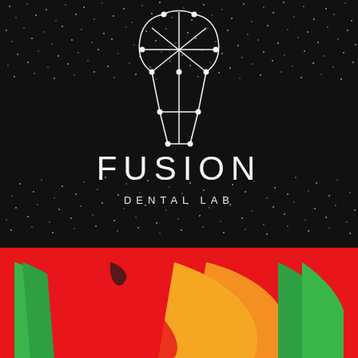[Figure (logo): Fusion Dental Lab logo — white geometric tooth/skull-like icon made of connected nodes and lines on a dark textured background with white noise dots, with 'FUSION' in large spaced letters and 'DENTAL LAB' in smaller spaced letters below, all in white on black.]
[Figure (illustration): Colorful abstract brush stroke artwork with red, green, yellow/orange swathes on a red background, partially visible at the bottom of the page.]